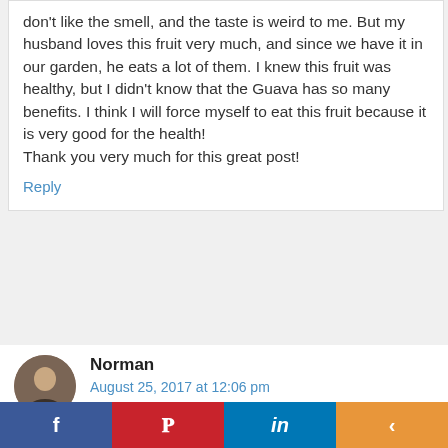don't like the smell, and the taste is weird to me. But my husband loves this fruit very much, and since we have it in our garden, he eats a lot of them. I knew this fruit was healthy, but I didn't know that the Guava has so many benefits. I think I will force myself to eat this fruit because it is very good for the health!
Thank you very much for this great post!
Reply
Norman
August 25, 2017 at 12:06 pm
f  P  in  <